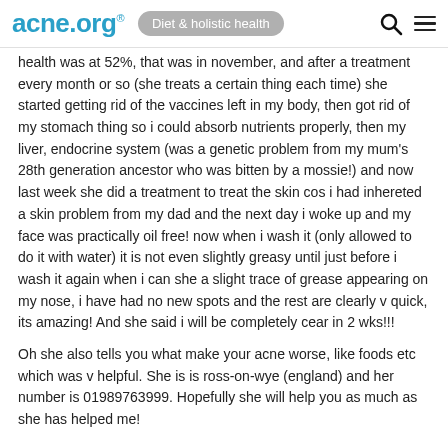acne.org® | Diet & holistic health
health was at 52%, that was in november, and after a treatment every month or so (she treats a certain thing each time) she started getting rid of the vaccines left in my body, then got rid of my stomach thing so i could absorb nutrients properly, then my liver, endocrine system (was a genetic problem from my mum's 28th generation ancestor who was bitten by a mossie!) and now last week she did a treatment to treat the skin cos i had inhereted a skin problem from my dad and the next day i woke up and my face was practically oil free! now when i wash it (only allowed to do it with water) it is not even slightly greasy until just before i wash it again when i can she a slight trace of grease appearing on my nose, i have had no new spots and the rest are clearly v quick, its amazing! And she said i will be completely cear in 2 wks!!!
Oh she also tells you what make your acne worse, like foods etc which was v helpful. She is is ross-on-wye (england) and her number is 01989763999. Hopefully she will help you as much as she has helped me!